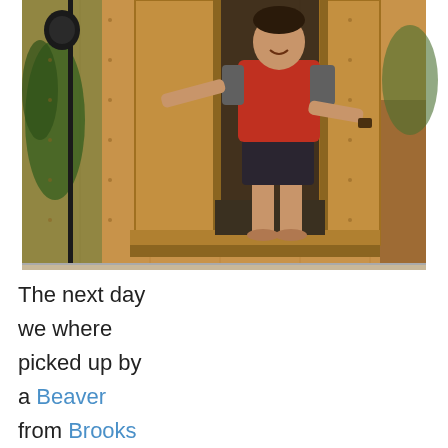[Figure (photo): A man wearing a red and grey raglan t-shirt and dark shorts, barefoot, standing in the open doorway of a wooden plywood shed or outhouse structure. Green conifer trees and reddish-brown dirt are visible in the background on either side of the structure.]
The next day we where picked up by a Beaver from Brooks